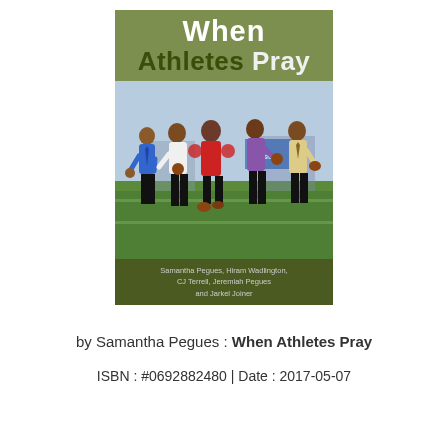[Figure (illustration): Book cover of 'When Athletes Pray' showing five people standing on a sports field holding footballs, with a dark olive/green background. Authors listed at bottom: Samantha Pegues, Hiram Wadlington, CJ Terrell, Jeremiah Pegues and Jarkel Joiner.]
by Samantha Pegues : When Athletes Pray
ISBN : #0692882480 | Date : 2017-05-07